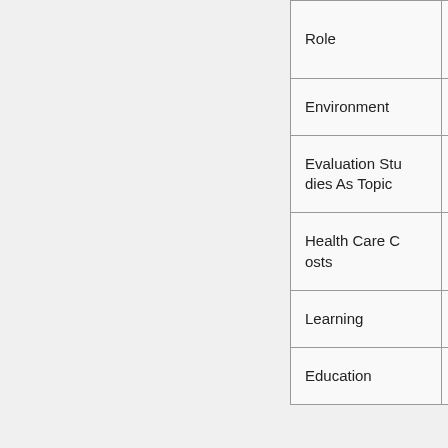|  |  |
| --- | --- |
| Role | Sensitivity Specificity |
| Environment | Stroke |
| Evaluation Studies As Topic | Drug |
| Health Care Costs | F-18 Fdg P |
| Learning | Pain |
| Education | Women |